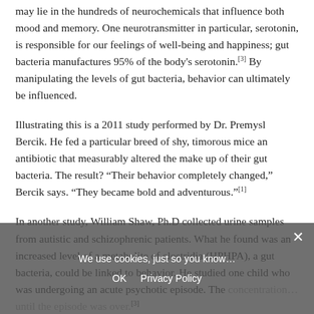may lie in the hundreds of neurochemicals that influence both mood and memory. One neurotransmitter in particular, serotonin, is responsible for our feelings of well-being and happiness; gut bacteria manufactures 95% of the body's serotonin.[3] By manipulating the levels of gut bacteria, behavior can ultimately be influenced.
Illustrating this is a 2011 study performed by Dr. Premysl Bercik. He fed a particular breed of shy, timorous mice an antibiotic that measurably altered the make up of their gut bacteria. The result? “Their behavior completely changed,” Bercik says. “They became bold and adventurous.”[1]
In another study, William Shaw, Ph.D collected urine samples from autistic and schizophrenic patients. What he found was an increased level of a metabolite of clostridia (HPHPA), a gut bacteria, could be linked to behavior. He studied one child who was undergoing an acute psychotic episode. The concentration... until the episode was over.[3]